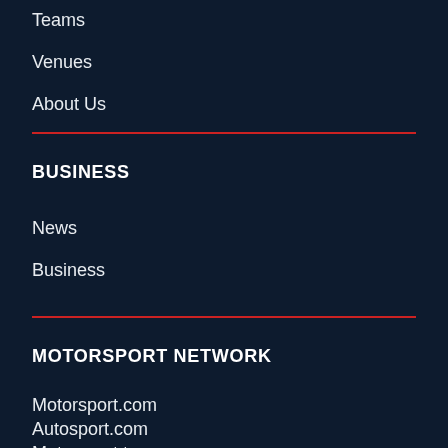Teams
Venues
About Us
BUSINESS
News
Business
MOTORSPORT NETWORK
Motorsport.com
Autosport.com
Motorsport.tv